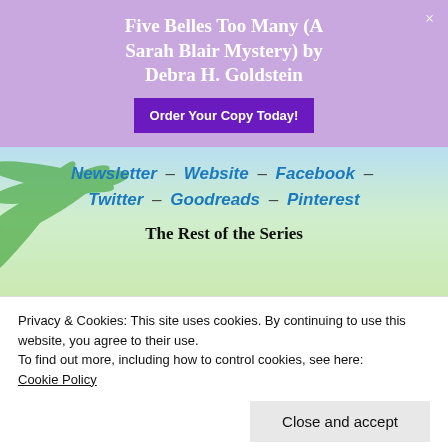Five Belles Too Many (A Sarah Blair Mystery) by Debra H. Goldstein
Order Your Copy Today!
Newsletter – Website – Facebook – Twitter – Goodreads – Pinterest
The Rest of the Series
[Figure (photo): Four book covers in a row: Death at First Sight, Occult and Battery, Clairvoyant and Present Danger, Spirited Away]
Privacy & Cookies: This site uses cookies. By continuing to use this website, you agree to their use.
To find out more, including how to control cookies, see here:
Cookie Policy
Close and accept